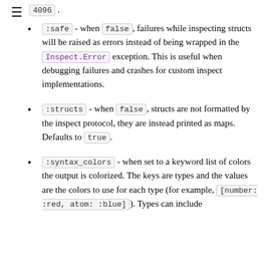4096 .
:safe - when false, failures while inspecting structs will be raised as errors instead of being wrapped in the Inspect.Error exception. This is useful when debugging failures and crashes for custom inspect implementations.
:structs - when false, structs are not formatted by the inspect protocol, they are instead printed as maps. Defaults to true.
:syntax_colors - when set to a keyword list of colors the output is colorized. The keys are types and the values are the colors to use for each type (for example, [number: :red, atom: :blue]). Types can include